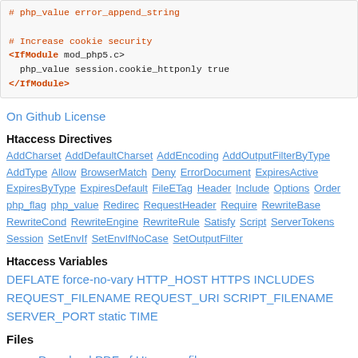# php_value error_append_string
# Increase cookie security
<IfModule mod_php5.c>
  php_value session.cookie_httponly true
</IfModule>
On Github License
Htaccess Directives
AddCharset AddDefaultCharset AddEncoding AddOutputFilterByType AddType Allow BrowserMatch Deny ErrorDocument ExpiresActive ExpiresByType ExpiresDefault FileETag Header Include Options Order php_flag php_value Redirect RequestHeader Require RewriteBase RewriteCond RewriteEngine RewriteRule Satisfy Script ServerTokens Session SetEnvIf SetEnvIfNoCase SetOutputFilter
Htaccess Variables
DEFLATE force-no-vary HTTP_HOST HTTPS INCLUDES REQUEST_FILENAME REQUEST_URI SCRIPT_FILENAME SERVER_PORT static TIME
Files
Download PDF of Htaccess file
# Header set Cache-Control "no-transform"
# </IfModule>